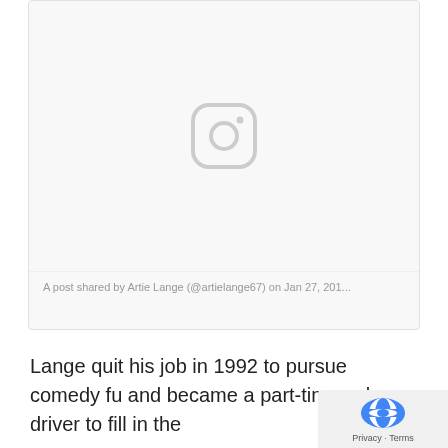[Figure (screenshot): Instagram embed placeholder showing the Instagram camera icon logo in light gray on a white/light gray background, with a caption below reading 'A post shared by Artie Lange (@artielange67) on Jan 27, 201...']
A post shared by Artie Lange (@artielange67) on Jan 27, 201...
Lange quit his job in 1992 to pursue comedy fu and became a part-time cab driver to fill in the